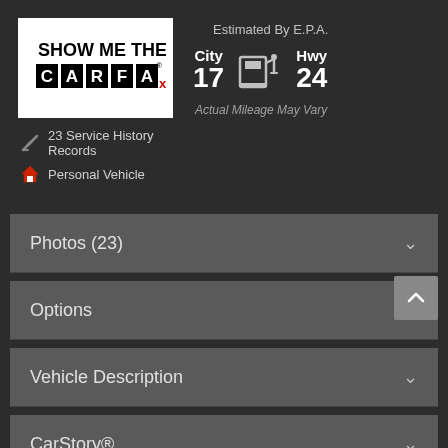[Figure (logo): SHOW ME THE CARFAX logo — white background with bold black SHOW ME THE text and CARFAX in boxed letters]
23 Service History Records
Personal Vehicle
Estimated By E.P.A.
City 17   Hwy 24
Actual Mileage May Vary
Photos (23)
Options
Vehicle Description
CarStory®
Vehicle Inquiry